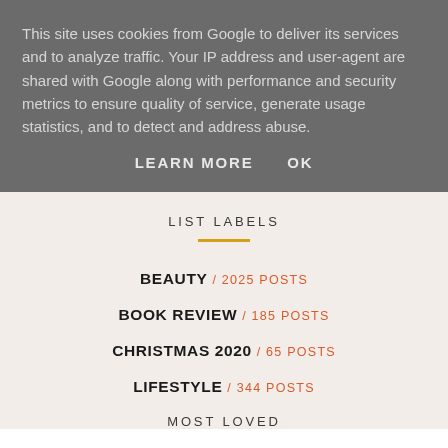This site uses cookies from Google to deliver its services and to analyze traffic. Your IP address and user-agent are shared with Google along with performance and security metrics to ensure quality of service, generate usage statistics, and to detect and address abuse.
LEARN MORE    OK
LIST LABELS
BEAUTY / 2025 POSTS
BOOK REVIEW / 185 POSTS
CHRISTMAS 2020 / 65 POSTS
LIFESTYLE / 344 POSTS
MOST LOVED